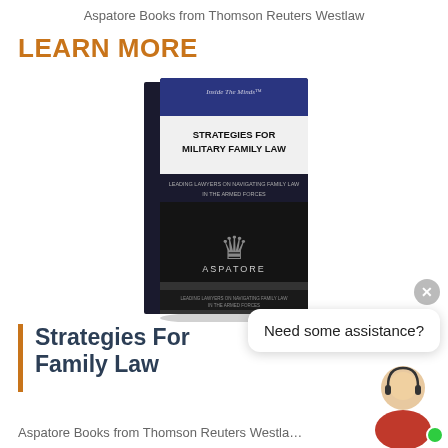Aspatore Books from Thomson Reuters Westlaw
LEARN MORE
[Figure (photo): Book cover of 'Strategies for Military Family Law' from Aspatore Books, with dark cover featuring a crown logo]
Strategies For Family Law
Aspatore Books from Thomson Reuters Westla…